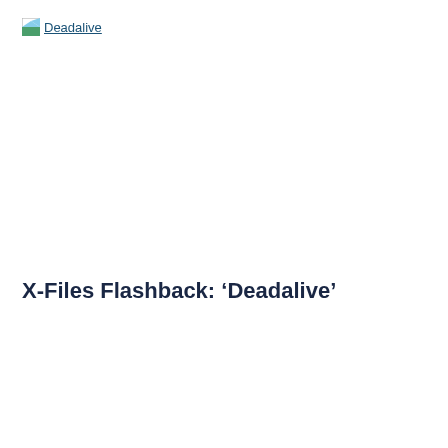[Figure (logo): Deadalive logo with small image icon and linked text]
X-Files Flashback: ‘Deadalive’